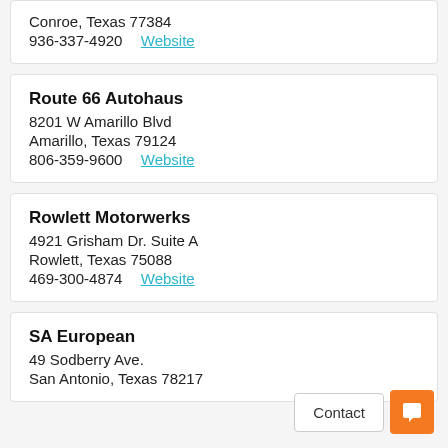Conroe, Texas 77384
936-337-4920  Website
Route 66 Autohaus
8201 W Amarillo Blvd
Amarillo, Texas 79124
806-359-9600  Website
Rowlett Motorwerks
4921 Grisham Dr. Suite A
Rowlett, Texas 75088
469-300-4874  Website
SA European
49 Sodberry Ave.
San Antonio, Texas 78217